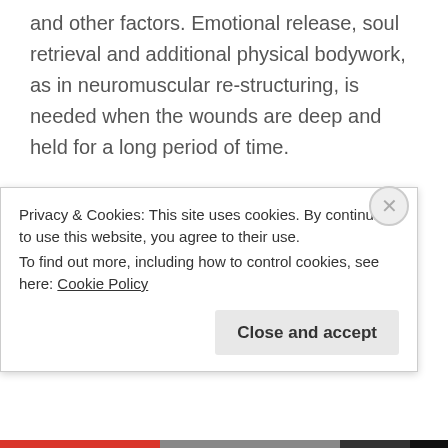and other factors. Emotional release, soul retrieval and additional physical bodywork, as in neuromuscular re-structuring, is needed when the wounds are deep and held for a long period of time.
Cords used in Manipulating Emotions
I have witnessed energetic entities, spirit attachments, multiple personalities or just a dark being latched on to wounds and manipulating the
Privacy & Cookies: This site uses cookies. By continuing to use this website, you agree to their use.
To find out more, including how to control cookies, see here: Cookie Policy
Close and accept